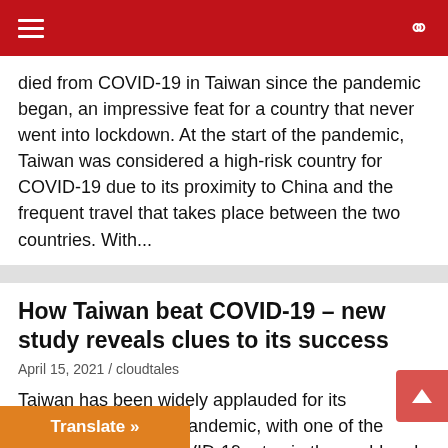Navigation bar with hamburger menu and search icon
died from COVID-19 in Taiwan since the pandemic began, an impressive feat for a country that never went into lockdown. At the start of the pandemic, Taiwan was considered a high-risk country for COVID-19 due to its proximity to China and the frequent travel that takes place between the two countries. With...
How Taiwan beat COVID-19 – new study reveals clues to its success
April 15, 2021 / cloudtales
Taiwan has been widely applauded for its management of the pandemic, with one of the lowest per capita COVID-19 rates in the world and life on the island largely returning to normal. Just 11 people have died from COVID-19 in Taiwan since the pandemic began, an impressive feat for a country that never went into lockdown. At the start of the pandemic, Taiwan was considered a high-risk country for COVID-19, due to its